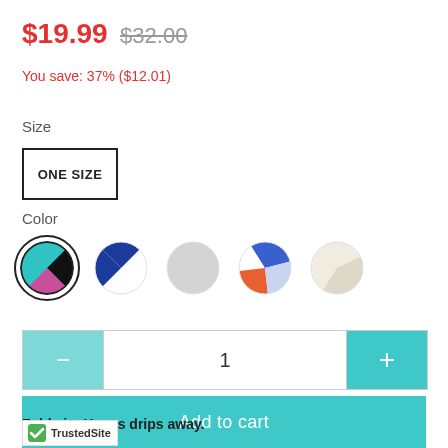$19.99 $32.00
You save: 37% ($12.01)
Size
ONE SIZE
Color
[Figure (illustration): Five color swatch circles: teal/pink/black multi, navy/white, light gray, blue/orange/white, cream/light gray]
1
Add to cart
Folds in. Keeps drips away.
[Figure (logo): TrustedSite badge with green checkmark]